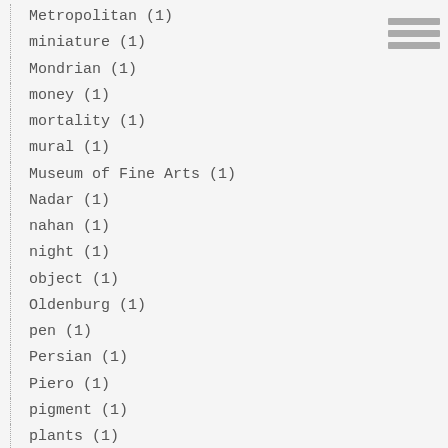Metropolitan (1)
miniature (1)
Mondrian (1)
money (1)
mortality (1)
mural (1)
Museum of Fine Arts (1)
Nadar (1)
nahan (1)
night (1)
object (1)
Oldenburg (1)
pen (1)
Persian (1)
Piero (1)
pigment (1)
plants (1)
plates (1)
plums (1)